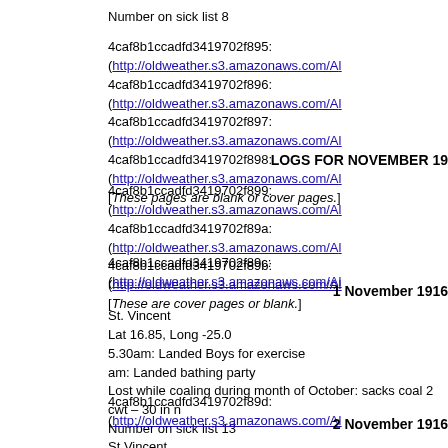Number on sick list 8
4caf8b1ccadfd3419702f895: (http://oldweather.s3.amazonaws.com/A...)
4caf8b1ccadfd3419702f896: (http://oldweather.s3.amazonaws.com/A...)
4caf8b1ccadfd3419702f897: (http://oldweather.s3.amazonaws.com/A...)
4caf8b1ccadfd3419702f898: (http://oldweather.s3.amazonaws.com/A...)
[These pages are blank or cover pages.]
LOGS FOR NOVEMBER 19
4caf8b1ccadfd3419702f899: (http://oldweather.s3.amazonaws.com/A...)
4caf8b1ccadfd3419702f89a: (http://oldweather.s3.amazonaws.com/A...)
4caf8b1ccadfd3419702f89b: (http://oldweather.s3.amazonaws.com/A...)
[These are cover pages or blank.]
4caf8b1ccadfd3419702f89c: (http://oldweather.s3.amazonaws.com/A...)
1 November 1916
St. Vincent
Lat 16.85, Long -25.0
5.30am: Landed Boys for exercise
am: Landed bathing party
Lost while coaling during month of October: sacks coal 2 cwt – 30 in n...
Number on sick list 13
4caf8b1ccadfd3419702f89d: (http://oldweather.s3.amazonaws.com/A...)
2 November 1916
St Vincent